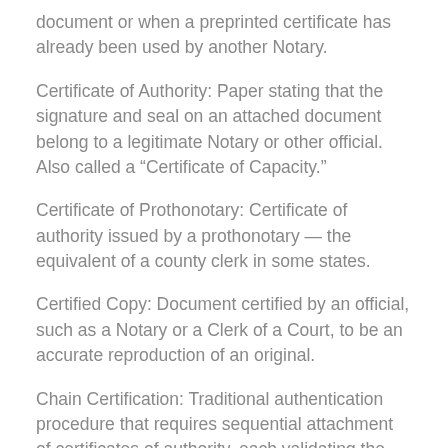document or when a preprinted certificate has already been used by another Notary.
Certificate of Authority: Paper stating that the signature and seal on an attached document belong to a legitimate Notary or other official. Also called a “Certificate of Capacity.”
Certificate of Prothonotary: Certificate of authority issued by a prothonotary — the equivalent of a county clerk in some states.
Certified Copy: Document certified by an official, such as a Notary or a Clerk of a Court, to be an accurate reproduction of an original.
Chain Certification: Traditional authentication procedure that requires sequential attachment of certificates of authority, each validating the genuineness of the preceding one.